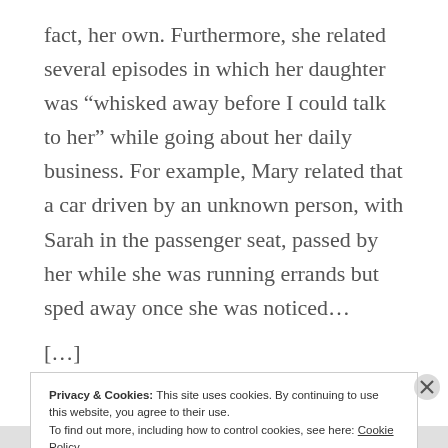fact, her own. Furthermore, she related several episodes in which her daughter was “whisked away before I could talk to her” while going about her daily business. For example, Mary related that a car driven by an unknown person, with Sarah in the passenger seat, passed by her while she was running errands but sped away once she was noticed…
[...]
Privacy & Cookies: This site uses cookies. By continuing to use this website, you agree to their use. To find out more, including how to control cookies, see here: Cookie Policy